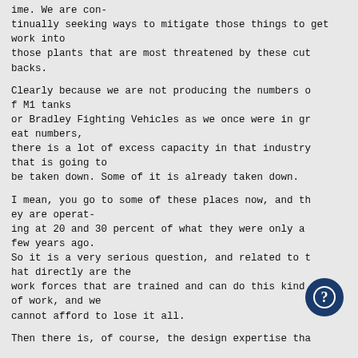ime. We are con-
tinually seeking ways to mitigate those things to get work into
those plants that are most threatened by these cut backs.
Clearly because we are not producing the numbers of M1 tanks
or Bradley Fighting Vehicles as we once were in great numbers,
there is a lot of excess capacity in that industry that is going to
be taken down. Some of it is already taken down.
I mean, you go to some of these places now, and they are operat-
ing at 20 and 30 percent of what they were only a few years ago.
So it is a very serious question, and related to that directly are the
work forces that are trained and can do this kind of work, and we
cannot afford to lose it all.
Then there is, of course, the design expertise tha